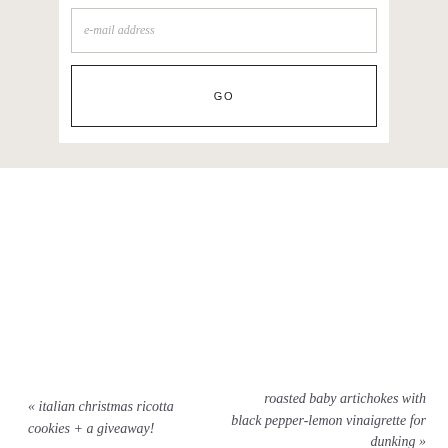e-mail address
GO
« italian christmas ricotta cookies + a giveaway!
roasted baby artichokes with black pepper-lemon vinaigrette for dunking »